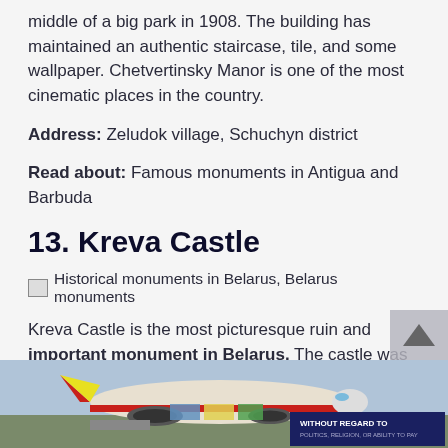middle of a big park in 1908. The building has maintained an authentic staircase, tile, and some wallpaper. Chetvertinsky Manor is one of the most cinematic places in the country.
Address: Zeludok village, Schuchyn district
Read about: Famous monuments in Antigua and Barbuda
13. Kreva Castle
[Figure (photo): Broken image placeholder with alt text: Historical monuments in Belarus, Belarus monuments]
Kreva Castle is the most picturesque ruin and important monument in Belarus. The castle was built in the 14th century. Those walls witnessed quite many things during the centuries. Duke Kestutis, the fa[ther]
[Figure (photo): Advertisement banner at the bottom of the page showing an airplane being loaded with cargo. Text reads: WITHOUT REGARD TO POLITICS, RELIGION, OR ABILITY TO PAY]